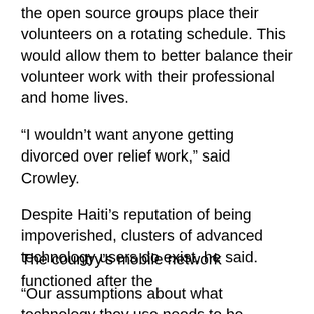the open source groups place their volunteers on a rotating schedule. This would allow them to better balance their volunteer work with their professional and home lives.
“I wouldn’t want anyone getting divorced over relief work,” said Crowley.
Despite Haiti’s reputation of being impoverished, clusters of advanced technology users do exist, he said.
“Our assumptions about what technology they use needs to be questioned. Yes, it is low but there are pockets that are incredible.”
The country’s mobile network functioned after the